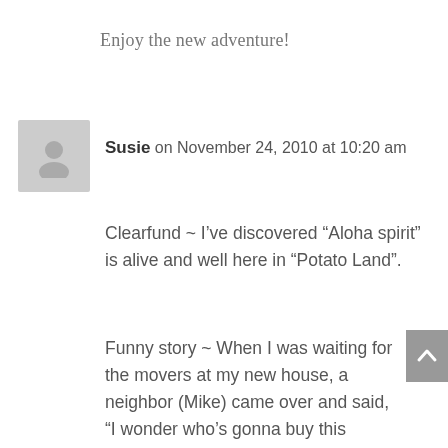Enjoy the new adventure!
Susie on November 24, 2010 at 10:20 am
Clearfund ~ I've discovered “Aloha spirit” is alive and well here in “Potato Land”.
Funny story ~ When I was waiting for the movers at my new house, a neighbor (Mike) came over and said, “I wonder who’s gonna buy this house.” I exclaimed, “I did!” He then asked where